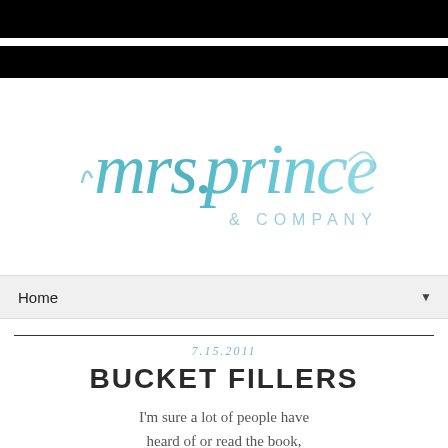[Figure (logo): Mrs. Prince & Company handwritten script logo in teal/turquoise watercolor style]
Home ▼
7.15.2011
BUCKET FILLERS
I'm sure a lot of people have heard of or read the book, Have You Filled A Bucket Today?